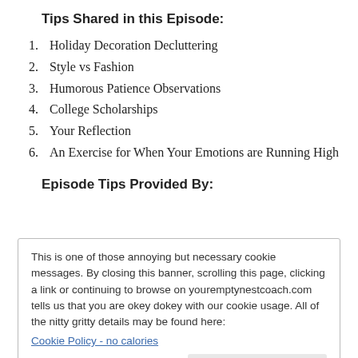Tips Shared in this Episode:
1. Holiday Decoration Decluttering
2. Style vs Fashion
3. Humorous Patience Observations
4. College Scholarships
5. Your Reflection
6. An Exercise for When Your Emotions are Running High
Episode Tips Provided By:
This is one of those annoying but necessary cookie messages. By closing this banner, scrolling this page, clicking a link or continuing to browse on youremptynestcoach.com tells us that you are okey dokey with our cookie usage. All of the nitty gritty details may be found here:
Cookie Policy - no calories
Get rid of this box now.